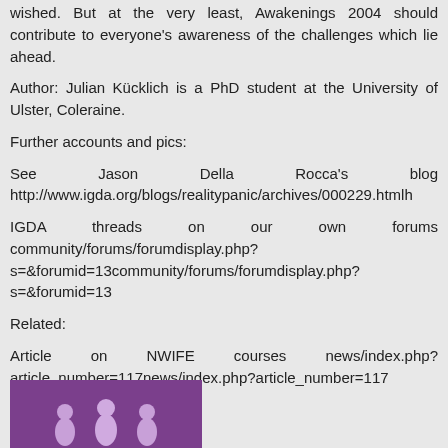wished. But at the very least, Awakenings 2004 should contribute to everyone's awareness of the challenges which lie ahead.
Author: Julian Kücklich is a PhD student at the University of Ulster, Coleraine.
Further accounts and pics:
See Jason Della Rocca's blog http://www.igda.org/blogs/realitypanic/archives/000229.html
IGDA threads on our own forums community/forums/forumdisplay.php?s=&forumid=13community/forums/forumdisplay.php?s=&forumid=13
Related:
Article on NWIFE courses news/index.php?article_number=117news/index.php?article_number=117
[Figure (illustration): Purple/violet background image with person silhouettes or icons at the bottom edge]